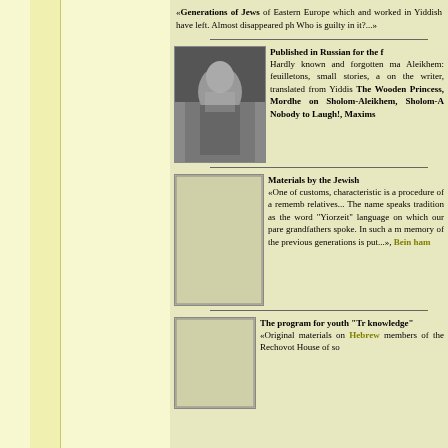«Generations of Jews of Eastern Europe which and worked in Yiddish have left. Almost disappeared ph Who is guilty in it?...»
[Figure (photo): Black and white portrait photo of an elderly man with white beard]
Published in Russian for the f Hardly known and forgotten ma Aleikhem: feuilletons, small stories, a on the writer, translated from Yiddis The Wooden Princess, Mordhe on Sholom-Aleikhem, Sholom-A Nobody to Laugh!, Maxims
[Figure (photo): Blank/placeholder image for Jewish materials section]
Materials by the Jewish «One of customs, characteristic is a procedure of a rememb relatives... The name speaks tradition as the word "Yiorzeit" language on which our pare grandfathers spoke. In such a m memory of the previous generations is put...», Bein ham
[Figure (photo): Blank/placeholder image for youth program section]
The program for youth "Tr knowledge" «Original materials on Hebrew members of the Rechovot House of so